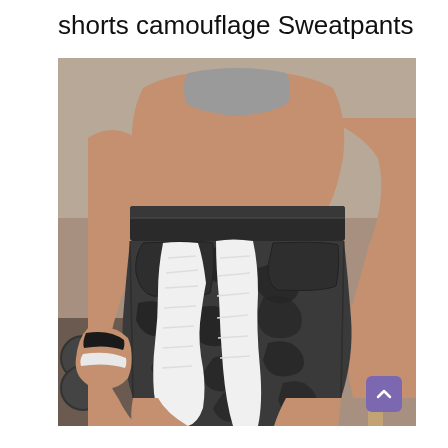shorts camouflage Sweatpants
[Figure (photo): A person wearing dark gray camouflage athletic shorts with a white towel tucked into the pocket, photographed from behind/side showing the shorts and muscular legs in a gym setting.]